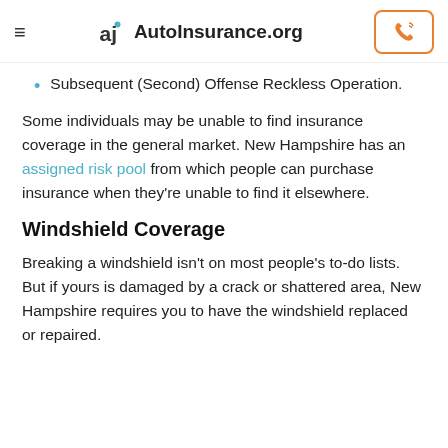AutoInsurance.org
Subsequent (Second) Offense Reckless Operation.
Some individuals may be unable to find insurance coverage in the general market. New Hampshire has an assigned risk pool from which people can purchase insurance when they're unable to find it elsewhere.
Windshield Coverage
Breaking a windshield isn't on most people's to-do lists. But if yours is damaged by a crack or shattered area, New Hampshire requires you to have the windshield replaced or repaired.